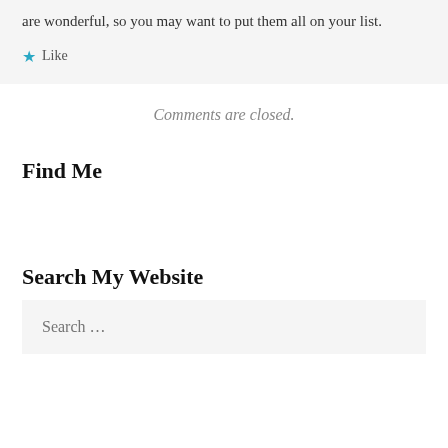are wonderful, so you may want to put them all on your list.
★ Like
Comments are closed.
Find Me
Search My Website
Search ...